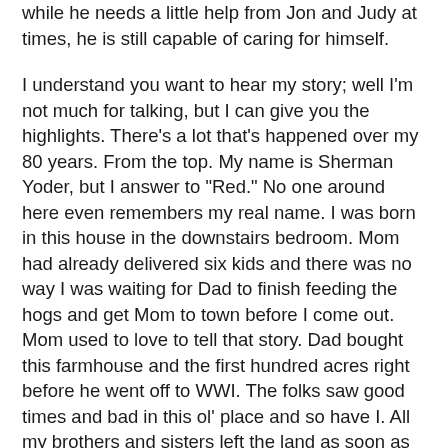while he needs a little help from Jon and Judy at times, he is still capable of caring for himself.
I understand you want to hear my story; well I'm not much for talking, but I can give you the highlights. There's a lot that's happened over my 80 years. From the top. My name is Sherman Yoder, but I answer to "Red." No one around here even remembers my real name. I was born in this house in the downstairs bedroom. Mom had already delivered six kids and there was no way I was waiting for Dad to finish feeding the hogs and get Mom to town before I come out. Mom used to love to tell that story. Dad bought this farmhouse and the first hundred acres right before he went off to WWI. The folks saw good times and bad in this ol' place and so have I. All my brothers and sisters left the land as soon as they could. I was the only one of the lot to care about this place and want to carry on what Dad started. I really haven't gone far from this spot in my entire life. The one time I got it in my head to try something different; I wound up in Korea with an Army uniform on. I was glad to get back to this place after that stint